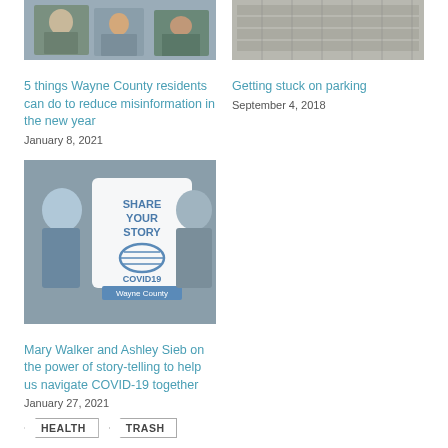[Figure (photo): Photo of people, top left article thumbnail]
5 things Wayne County residents can do to reduce misinformation in the new year
January 8, 2021
[Figure (photo): Parking-related photo, top right article thumbnail]
Getting stuck on parking
September 4, 2018
[Figure (photo): Share Your Story COVID19 Wayne County graphic with masked people]
Mary Walker and Ashley Sieb on the power of story-telling to help us navigate COVID-19 together
January 27, 2021
HEALTH
TRASH